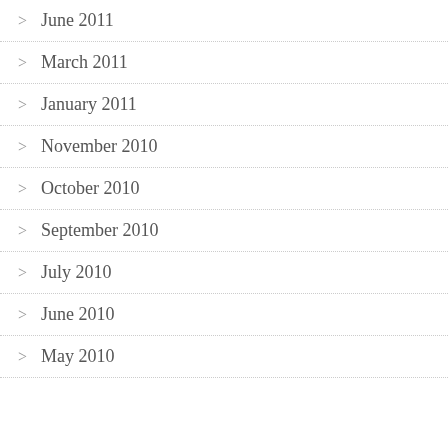June 2011
March 2011
January 2011
November 2010
October 2010
September 2010
July 2010
June 2010
May 2010